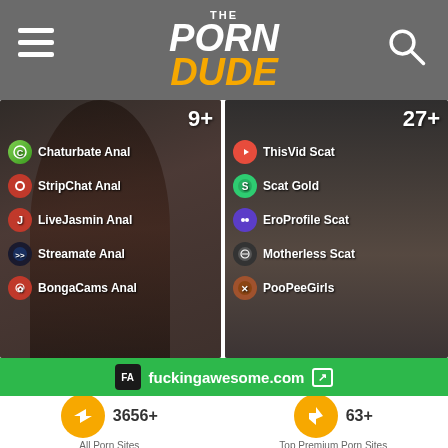The Porn Dude
[Figure (screenshot): Left card showing anal cam sites: Chaturbate Anal, StripChat Anal, LiveJasmin Anal, Streamate Anal, BongaCams Anal. Count: 9+]
[Figure (screenshot): Right card showing scat sites: ThisVid Scat, Scat Gold, EroProfile Scat, Motherless Scat, PooPeeGirls. Count: 27+]
PREMIUM SCAT & PISS PORN
LIVE SQUIRT CAMS
[Figure (screenshot): Bottom left partial card showing 15+]
[Figure (screenshot): Bottom right partial card showing 8+]
FA fuckingawesome.com
3656+ All Porn Sites
63+ Top Premium Porn Sites